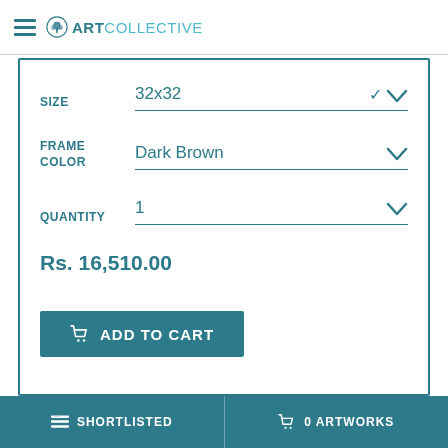ArtCollective
SIZE: 32x32
FRAME COLOR: Dark Brown
QUANTITY: 1
Rs. 16,510.00
ADD TO CART
SHORTLISTED | 0 ARTWORKS